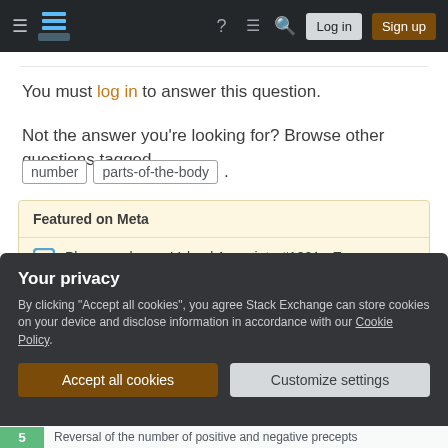Stack Exchange navigation bar with Log in and Sign up buttons
You must log in to answer this question.
Not the answer you're looking for? Browse other questions tagged number parts-of-the-body .
Featured on Meta
Please welcome Valued Associate #1301 - Emerson
Recent site instability, major outages – July/August 2022
Your privacy
By clicking "Accept all cookies", you agree Stack Exchange can store cookies on your device and disclose information in accordance with our Cookie Policy.
Accept all cookies   Customize settings
5   Reversal of the number of positive and negative precepts